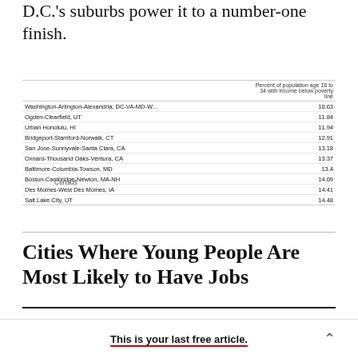D.C.'s suburbs power it to a number-one finish.
|  | Percent of population age 18 to 34 with income below poverty line |
| --- | --- |
| Washington-Arlington-Alexandria, DC-VA-MD-W… | 10.63 |
| Ogden-Clearfield, UT | 11.84 |
| Urban Honolulu, HI | 11.94 |
| Bridgeport-Stamford-Norwalk, CT | 12.91 |
| San Jose-Sunnyvale-Santa Clara, CA | 13.18 |
| Oxnard-Thousand Oaks-Ventura, CA | 13.37 |
| Baltimore-Columbia-Towson, MD | 13.4 |
| Boston-Cambridge-Newton, MA-NH | 14.09 |
| Des Moines-West Des Moines, IA | 14.41 |
| Salt Lake City, UT | 14.48 |
Census
Cities Where Young People Are Most Likely to Have Jobs
This is your last free article.